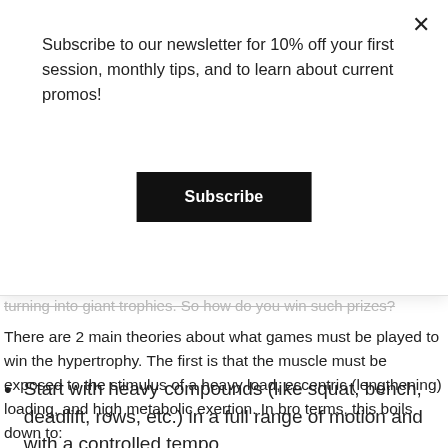Subscribe to our newsletter for 10% off your first session, monthly tips, and to learn about current promos!
Subscribe
turning into giant trophies. So how do you win such prizes?
There are 2 main theories about what games must be played to win the hypertrophy. The first is that the muscle must be exposed to the stimulus of a heavy load, eccentric (lengthening) loading, and high metabolic exertion. In bro terms, this boils down to:
Start with heavy compounds (like squat, bench, deadlift, rows, etc.) in a full range of motion and with a controlled tempo